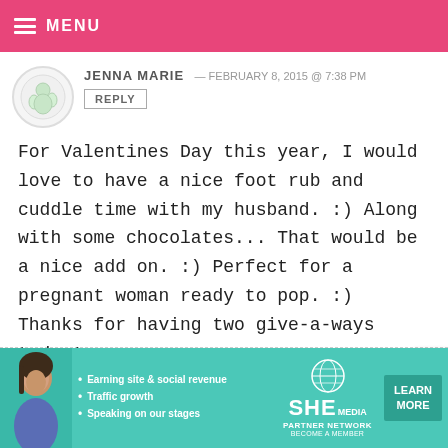MENU
JENNA MARIE — FEBRUARY 8, 2015 @ 7:38 PM
REPLY
For Valentines Day this year, I would love to have a nice foot rub and cuddle time with my husband. :) Along with some chocolates... That would be a nice add on. :) Perfect for a pregnant woman ready to pop. :)
Thanks for having two give-a-ways today!
[Figure (infographic): SHE Partner Network advertisement banner with teal background, showing bullet points: Earning site & social revenue, Traffic growth, Speaking on our stages. SHE Media logo and LEARN MORE button.]